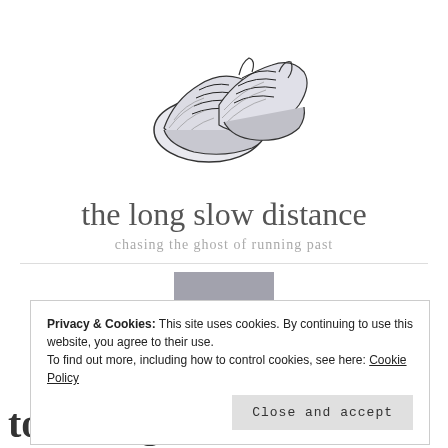[Figure (illustration): Hand-drawn sketch illustration of a pair of running shoes viewed from above at an angle, rendered in black ink with crosshatching shading on a white background.]
the long slow distance
chasing the ghost of running past
Privacy & Cookies: This site uses cookies. By continuing to use this website, you agree to their use.
To find out more, including how to control cookies, see here: Cookie Policy
Close and accept
to racing in St. John's